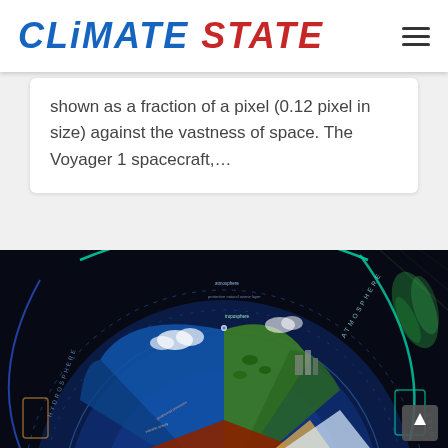CLIMATE STATE
shown as a fraction of a pixel (0.12 pixel in size) against the vastness of space. The Voyager 1 spacecraft,...
[Figure (illustration): Scientific diagram of Earth's spheres (atmosphere, hydrosphere, cryosphere) shown as a circular infographic with labeled sections including atmosphere layers, hydrosphere, biosphere, and cryosphere against a dark space background.]